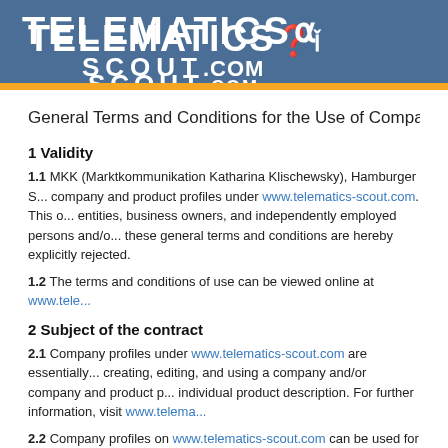[Figure (logo): Telematics-Scout logo with white text on blue background header bar]
General Terms and Conditions for the Use of Company
1 Validity
1.1 MKK (Marktkommunikation Katharina Klischewsky), Hamburger S... company and product profiles under www.telematics-scout.com. This o... entities, business owners, and independently employed persons and/o... these general terms and conditions are hereby explicitly rejected.
1.2 The terms and conditions of use can be viewed online at www.tele...
2 Subject of the contract
2.1 Company profiles under www.telematics-scout.com are essentially... creating, editing, and using a company and/or company and product p... individual product description. For further information, visit www.telema...
2.2 Company profiles on www.telematics-scout.com can be used for th...